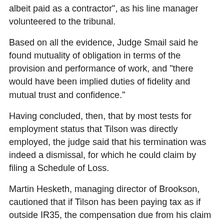albeit paid as a contractor", as his line manager volunteered to the tribunal.
Based on all the evidence, Judge Smail said he found mutuality of obligation in terms of the provision and performance of work, and "there would have been implied duties of fidelity and mutual trust and confidence."
Having concluded, then, that by most tests for employment status that Tilson was directly employed, the judge said that his termination was indeed a dismissal, for which he could claim by filing a Schedule of Loss.
Martin Hesketh, managing director of Brookson, cautioned that if Tilson has been paying tax as if outside IR35, the compensation due from his claim was "unlikely to outweigh the tax bill" from the Revenue.
Asked yesterday about the case, the Professional Contractors Group (PCG) responded: "PCG members are in business in their own right and want to be acknowledged as such; they are freelancers, the